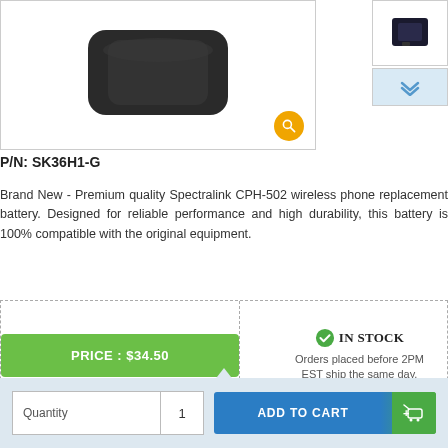[Figure (photo): Black wireless phone battery product photo with orange search icon overlay]
[Figure (photo): Small thumbnail of black device (micro SD card or similar) in sidebar]
P/N: SK36H1-G
Brand New - Premium quality Spectralink CPH-502 wireless phone replacement battery. Designed for reliable performance and high durability, this battery is 100% compatible with the original equipment.
PRICE : $34.50
IN STOCK
Orders placed before 2PM EST ship the same day.
Quantity
1
ADD TO CART